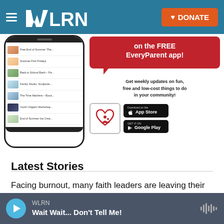WLRN | DONATE
[Figure (screenshot): Advertisement for the free EveryParent app showing a phone mockup with event listings and app store download buttons]
Latest Stories
Facing burnout, many faith leaders are leaving their ministries
WLRN | Wait Wait... Don't Tell Me!